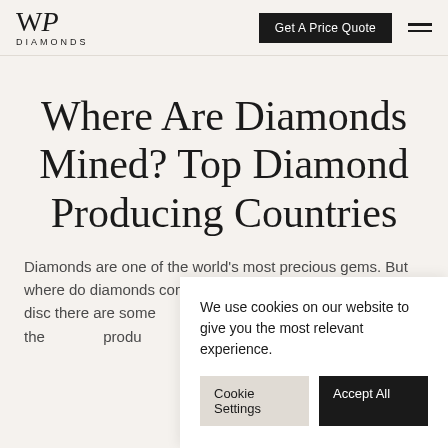WP DIAMONDS | Get A Price Quote | Navigation menu
Where Are Diamonds Mined? Top Diamond Producing Countries
Diamonds are one of the world's most precious gems. But where do diamonds come from? While diamonds have been discovered all over the world, there are some countries that are major diamond producing nations. In this article, we'll explore the top diamond producing countries and what makes them major diamond producers.
We use cookies on our website to give you the most relevant experience.